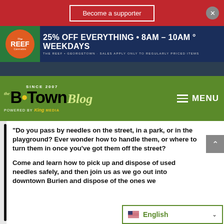Become a supporter
[Figure (infographic): The Reef Cannabis dispensary advertisement: 25% OFF EVERYTHING • 8AM – 10AM ° WEEKDAYS. THE REEF • GEORGETOWN · SALES APPLY ONLY TO REGULARLY PRICED ITEMS]
[Figure (logo): the B•Town Blog – Since 2007, Powered by King Media. Green header with hamburger menu and MENU text.]
“Do you pass by needles on the street, in a park, or in the playground? Ever wonder how to handle them, or where to turn them in once you’ve got them off the street?
Come and learn how to pick up and dispose of used needles safely, and then join us as we go out into downtown Burien and dispose of the ones we